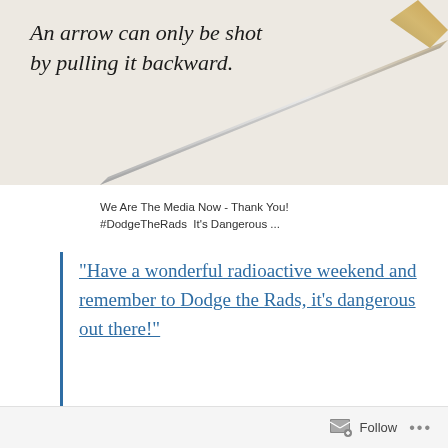[Figure (photo): A metallic arrow pointing diagonally from lower-left to upper-right against a light beige/white background, with italic handwritten-style text overlaid reading: 'An arrow can only be shot by pulling it backward.']
We Are The Media Now - Thank You!
#DodgeTheRads  It’s Dangerous ...
“Have a wonderful radioactive weekend and remember to Dodge the Rads, it’s dangerous out there!”
Follow ...